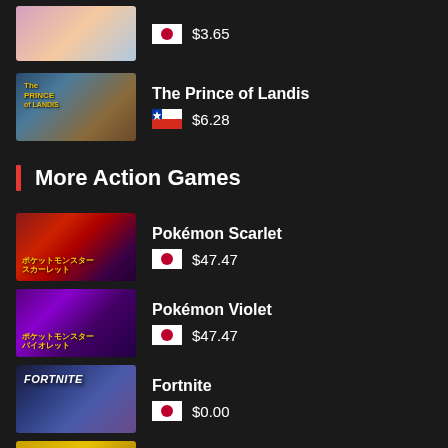$3.65 (Japan flag)
The Prince of Landis — Chile flag $6.28
More Action Games
Pokémon Scarlet — Japan flag $47.47
Pokémon Violet — Japan flag $47.47
Fortnite — Japan flag $0.00